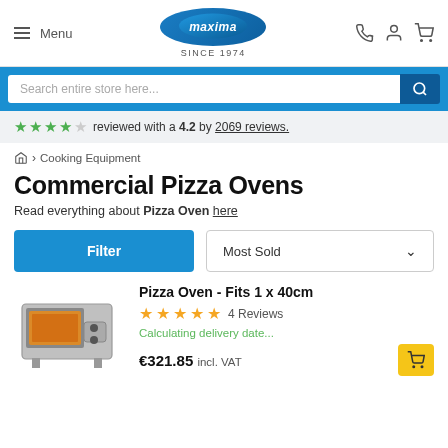Menu | Maxima SINCE 1974 | [phone] [account] [cart]
Search entire store here...
reviewed with a 4.2 by 2069 reviews.
Home > Cooking Equipment
Commercial Pizza Ovens
Read everything about Pizza Oven here
Filter | Most Sold
Pizza Oven - Fits 1 x 40cm
4 Reviews
Calculating delivery date...
€321.85 incl. VAT